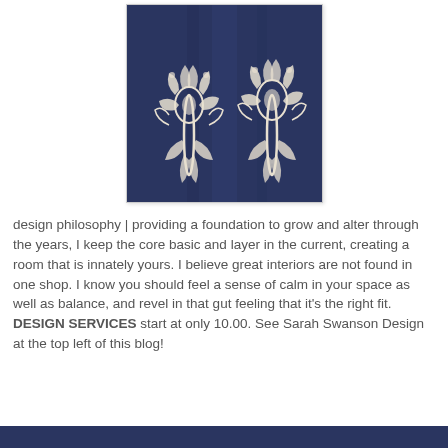[Figure (photo): Close-up photo of navy blue fabric with white ornate floral/damask embroidery patterns on both sides]
design philosophy | providing a foundation to grow and alter through the years, I keep the core basic and layer in the current, creating a room that is innately yours. I believe great interiors are not found in one shop. I know you should feel a sense of calm in your space as well as balance, and revel in that gut feeling that it's the right fit. DESIGN SERVICES start at only 10.00. See Sarah Swanson Design at the top left of this blog!